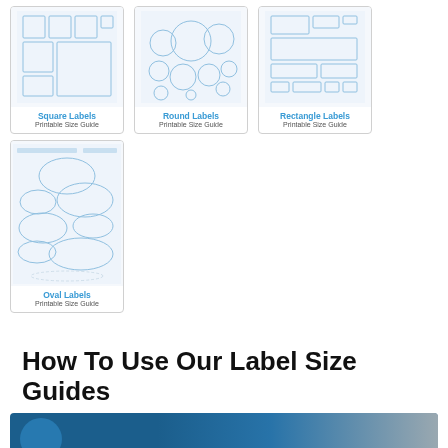[Figure (illustration): Square Labels Printable Size Guide thumbnail card]
Square Labels
Printable Size Guide
[Figure (illustration): Round Labels Printable Size Guide thumbnail card]
Round Labels
Printable Size Guide
[Figure (illustration): Rectangle Labels Printable Size Guide thumbnail card]
Rectangle Labels
Printable Size Guide
[Figure (illustration): Oval Labels Printable Size Guide thumbnail card]
Oval Labels
Printable Size Guide
How To Use Our Label Size Guides
[Figure (screenshot): Video thumbnail showing a person, blue background with measurement grid]